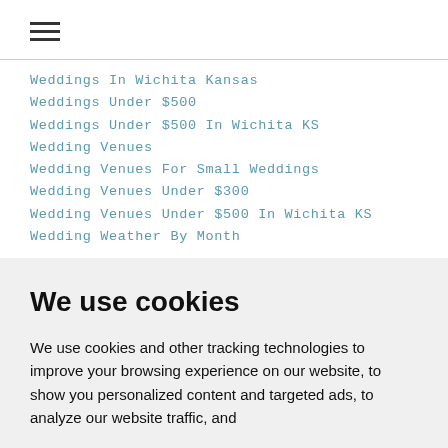[Figure (other): Hamburger menu icon with three horizontal lines]
Weddings In Wichita Kansas
Weddings Under $500
Weddings Under $500 In Wichita KS
Wedding Venues
Wedding Venues For Small Weddings
Wedding Venues Under $300
Wedding Venues Under $500 In Wichita KS
Wedding Weather By Month
We use cookies
We use cookies and other tracking technologies to improve your browsing experience on our website, to show you personalized content and targeted ads, to analyze our website traffic, and